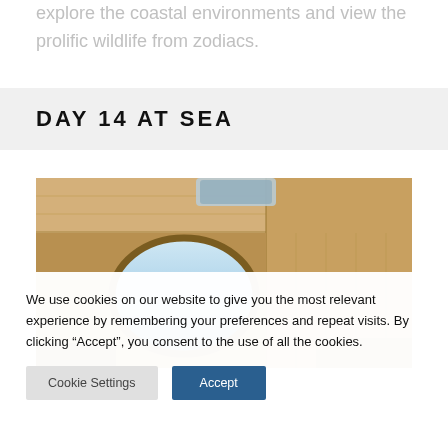explore the coastal environments and view the prolific wildlife from zodiacs.
DAY 14 AT SEA
[Figure (photo): Interior of a ship cabin or lounge with wooden paneling and a large oval porthole window showing the ocean and sky beyond.]
We use cookies on our website to give you the most relevant experience by remembering your preferences and repeat visits. By clicking “Accept”, you consent to the use of all the cookies.